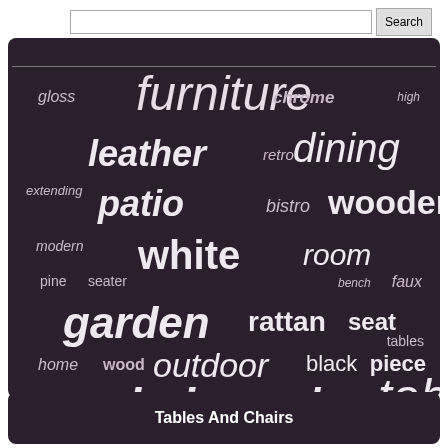[Figure (screenshot): Search bar with text input and Search button at top]
[Figure (infographic): Word cloud on dark purple/brown background featuring furniture-related terms: furniture (largest), dining, wooden, leather, patio, chairs, table, glass, garden, white, kitchen, rattan, seat, outdoor, black, piece, solid, grey, room, bistro, modern, extending, gloss, chrome, high, retro, pine, seater, bench, faux, home, wood, chair, folding]
Tables And Chairs